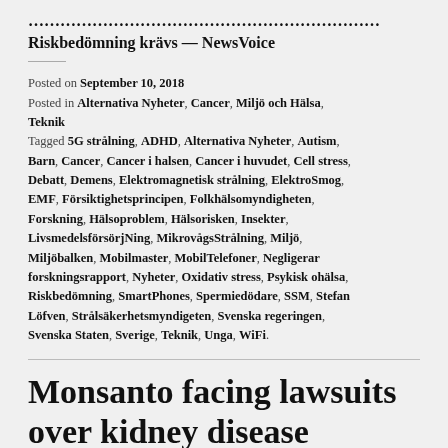Riskbedömning krävs — NewsVoice
Posted on September 10, 2018
Posted in Alternativa Nyheter, Cancer, Miljö och Hälsa, Teknik
Tagged 5G strålning, ADHD, Alternativa Nyheter, Autism, Barn, Cancer, Cancer i halsen, Cancer i huvudet, Cell stress, Debatt, Demens, Elektromagnetisk strålning, ElektroSmog, EMF, Försiktighetsprincipen, Folkhälsomyndigheten, Forskning, Hälsoproblem, Hälsorisken, Insekter, LivsmedelsförsörjNing, MikrovågsStrålning, Miljö, Miljöbalken, Mobilmaster, MobilTelefoner, Negligerar forskningsrapport, Nyheter, Oxidativ stress, Psykisk ohälsa, Riskbedömning, SmartPhones, Spermiedödare, SSM, Stefan Löfven, Strålsäkerhetsmyndigeten, Svenska regeringen, Svenska Staten, Sverige, Teknik, Unga, WiFi.
Monsanto facing lawsuits over kidney disease